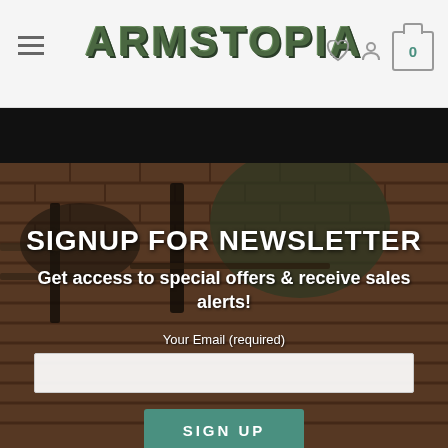ARMSTOPIA
[Figure (photo): Website screenshot showing Armstopia header with hamburger menu, logo, heart icon, user icon, and shopping cart. Below is a dark banner strip, then a background photo of military gear including rifles, ammunition, and a green military backpack against a brick wall, with a newsletter signup overlay including title, subtitle, email input, and sign up button.]
SIGNUP FOR NEWSLETTER
Get access to special offers & receive sales alerts!
Your Email (required)
SIGN UP